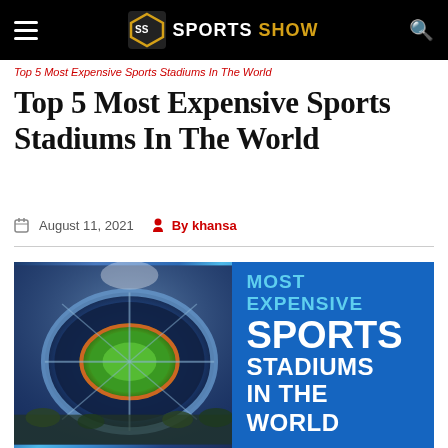SPORTS SHOW
Top 5 Most Expensive Sports Stadiums In The World
Top 5 Most Expensive Sports Stadiums In The World
August 11, 2021  By khansa
[Figure (infographic): Infographic showing aerial view of a sports stadium on the left and text 'MOST EXPENSIVE SPORTS STADIUMS IN THE WORLD' on a blue background on the right]